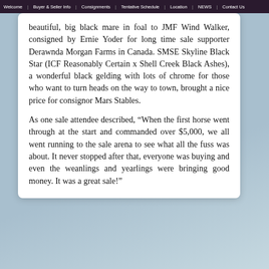Welcome | Buyer & Seller Info | Consignments | Tentative Schedule | Location | NEWS | Contact Us
beautiful, big black mare in foal to JMF Wind Walker, consigned by Ernie Yoder for long time sale supporter Derawnda Morgan Farms in Canada. SMSE Skyline Black Star (ICF Reasonably Certain x Shell Creek Black Ashes), a wonderful black gelding with lots of chrome for those who want to turn heads on the way to town, brought a nice price for consignor Mars Stables.
As one sale attendee described, “When the first horse went through at the start and commanded over $5,000, we all went running to the sale arena to see what all the fuss was about. It never stopped after that, everyone was buying and even the weanlings and yearlings were bringing good money. It was a great sale!”